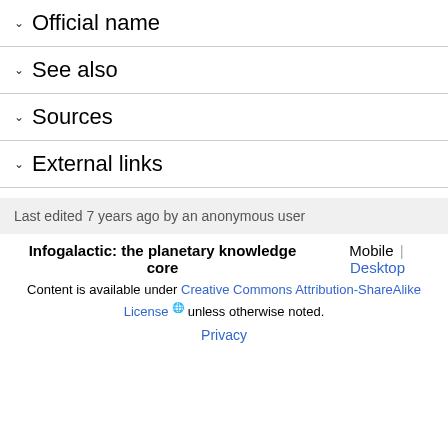Official name
See also
Sources
External links
Last edited 7 years ago by an anonymous user
Infogalactic: the planetary knowledge core  Mobile | Desktop
Content is available under Creative Commons Attribution-ShareAlike License unless otherwise noted.
Privacy